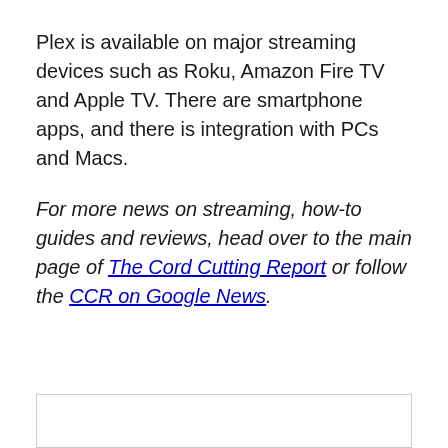Plex is available on major streaming devices such as Roku, Amazon Fire TV and Apple TV. There are smartphone apps, and there is integration with PCs and Macs.
For more news on streaming, how-to guides and reviews, head over to the main page of The Cord Cutting Report or follow the CCR on Google News.